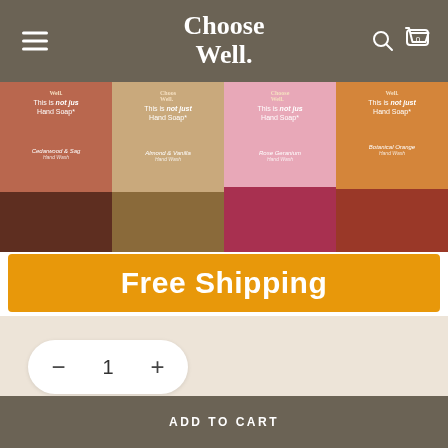Choose Well.
[Figure (photo): Four hand soap bottles arranged side by side: Cedarwood & Sage (terracotta/brown), Almond & Vanilla (tan/beige), Rose Geranium (pink/magenta), Botanical Orange (orange/red). Each bottle reads 'This is not just Hand Soap*' with the Choose Well. brand logo. An orange banner across the bottom reads 'Free Shipping'.]
1
ADD TO CART